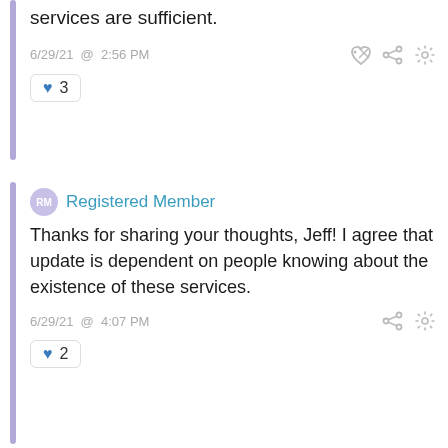services are sufficient.
6/29/21 @ 2:56 PM
♥ 3
Registered Member
Thanks for sharing your thoughts, Jeff! I agree that update is dependent on people knowing about the existence of these services.
6/29/21 @ 4:07 PM
♥ 2
Registered Member